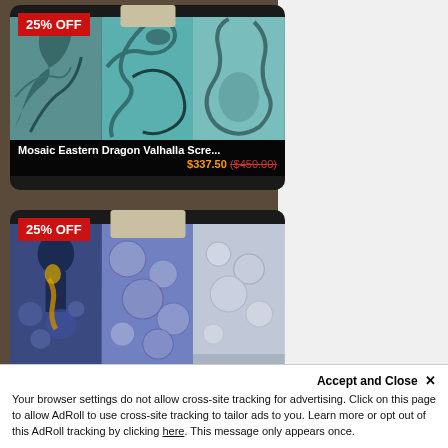[Figure (photo): Product card 1: Mosaic Eastern Dragon Valhalla Screen with 25% OFF badge. Shows three panels of dragon artwork in teal/blue tones with scroll top. Price $337.50 ($450.00)]
Mosaic Eastern Dragon Valhalla Scre...
$337.50 ($450.00)
[Figure (photo): Product card 2: Mosaic Plague Doctor Valhalla Screen with 25% OFF badge. Shows three panels of plague doctor artwork in blue/purple tones with scroll top. Price $337.50 ($450.00)]
Mosaic Plague Doctor Valhalla Scree...
$337.50 ($450.00)
[Figure (photo): Partial third product card with 25% OFF badge, partially obscured by cookie banner]
Accept and Close ✕
Your browser settings do not allow cross-site tracking for advertising. Click on this page to allow AdRoll to use cross-site tracking to tailor ads to you. Learn more or opt out of this AdRoll tracking by clicking here. This message only appears once.